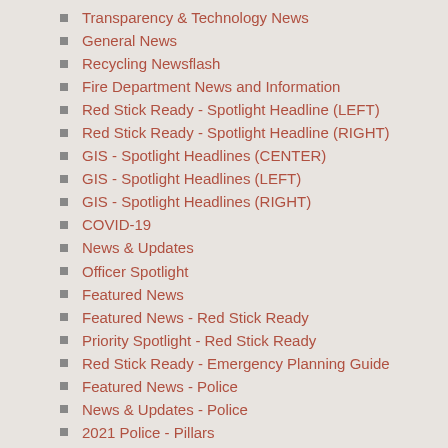Transparency & Technology News
General News
Recycling Newsflash
Fire Department News and Information
Red Stick Ready - Spotlight Headline (LEFT)
Red Stick Ready - Spotlight Headline (RIGHT)
GIS - Spotlight Headlines (CENTER)
GIS - Spotlight Headlines (LEFT)
GIS - Spotlight Headlines (RIGHT)
COVID-19
News & Updates
Officer Spotlight
Featured News
Featured News - Red Stick Ready
Priority Spotlight - Red Stick Ready
Red Stick Ready - Emergency Planning Guide
Featured News - Police
News & Updates - Police
2021 Police - Pillars
Priority Spotlight - BRLA
Priority Spotlight - BRPD
MyBR App